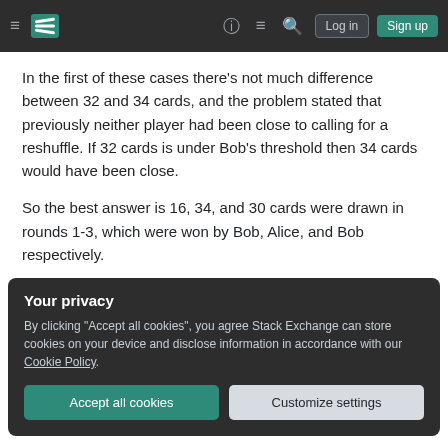Stack Exchange navigation bar with hamburger menu, logo, help, chat, search icons, Log in and Sign up buttons
In the first of these cases there's not much difference between 32 and 34 cards, and the problem stated that previously neither player had been close to calling for a reshuffle. If 32 cards is under Bob's threshold then 34 cards would have been close.
So the best answer is 16, 34, and 30 cards were drawn in rounds 1-3, which were won by Bob, Alice, and Bob respectively.
Your privacy
By clicking "Accept all cookies", you agree Stack Exchange can store cookies on your device and disclose information in accordance with our Cookie Policy.
Accept all cookies | Customize settings
Your Answer